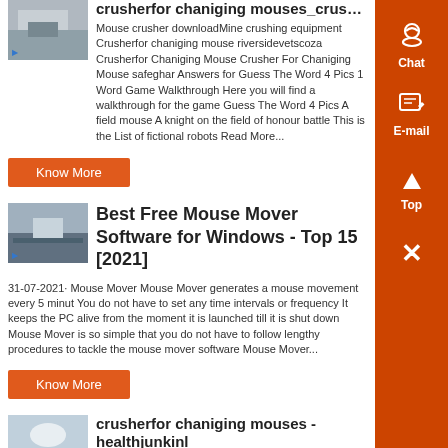crusherfor chaniging mouses_crusher
Mouse crusher downloadMine crushing equipment Crusherfor chaniging mouse riversidevetscoza Crusherfor Chaniging Mouse Crusher For Chaniging Mouse safeghar Answers for Guess The Word 4 Pics 1 Word Game Walkthrough Here you will find a walkthrough for the game Guess The Word 4 Pics A field mouse A knight on the field of honour battle This is the List of fictional robots Read More...
Know More
Best Free Mouse Mover Software for Windows - Top 15 [2021]
31-07-2021· Mouse Mover Mouse Mover generates a mouse movement every 5 minut You do not have to set any time intervals or frequency It keeps the PC alive from the moment it is launched till it is shut down Mouse Mover is so simple that you do not have to follow lengthy procedures to tackle the mouse mover software Mouse Mover...
Know More
crusherfor chaniging mouses - healthjunkinl